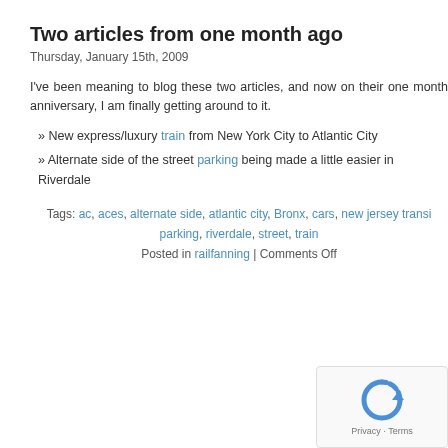Two articles from one month ago
Thursday, January 15th, 2009
I've been meaning to blog these two articles, and now on their one month anniversary, I am finally getting around to it.
» New express/luxury train from New York City to Atlantic City
» Alternate side of the street parking being made a little easier in Riverdale
Tags: ac, aces, alternate side, atlantic city, Bronx, cars, new jersey transit, parking, riverdale, street, train
Posted in railfanning | Comments Off
[Figure (other): reCAPTCHA widget with Privacy and Terms links]